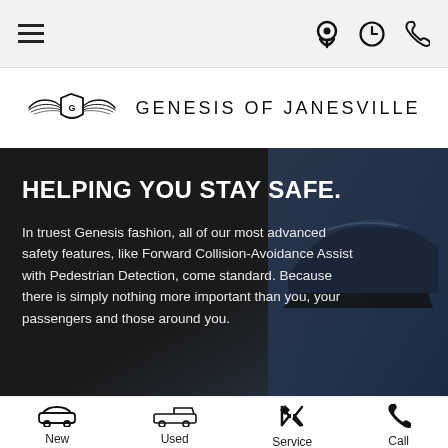Navigation bar with hamburger menu and location/time/phone icons
[Figure (logo): Genesis of Janesville logo with winged shield emblem and text GENESIS OF JANESVILLE]
HELPING YOU STAY SAFE.
In truest Genesis fashion, all of our most advanced safety features, like Forward Collision-Avoidance Assist with Pedestrian Detection, come standard. Because there is simply nothing more important than you, your passengers and those around you.
New | Used | Service | Call